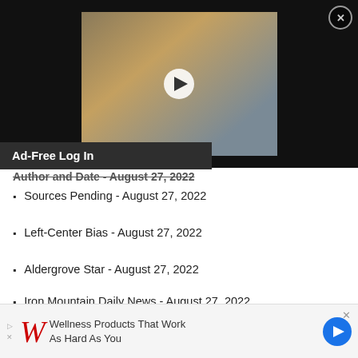[Figure (screenshot): Video player overlay showing children walking to school, with play button in center and close (X) button in top right corner]
Ad-Free Log In
...and date - August 27, 2022
Sources Pending - August 27, 2022
Left-Center Bias - August 27, 2022
Aldergrove Star - August 27, 2022
Iron Mountain Daily News - August 27, 2022
Mid Massachusetts News - August 27, 2022
[Figure (screenshot): Walgreens advertisement banner: Wellness Products That Work As Hard As You]